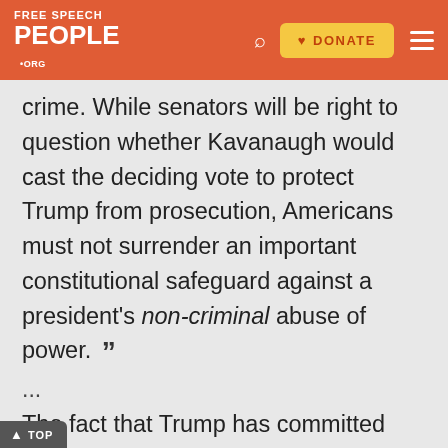FREE SPEECH FOR PEOPLE .ORG — [search] [DONATE] [menu]
crime. While senators will be right to question whether Kavanaugh would cast the deciding vote to protect Trump from prosecution, Americans must not surrender an important constitutional safeguard against a president's non-criminal abuse of power. ”
...
The fact that Trump has committed